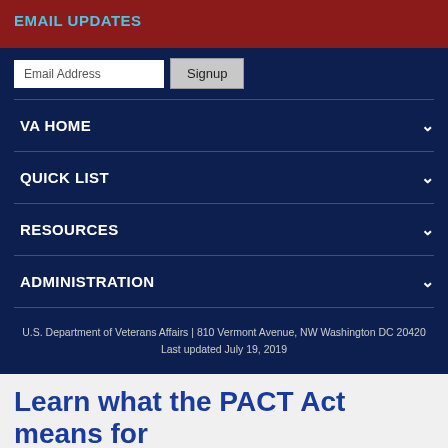EMAIL UPDATES
Email Address
Signup
VA HOME
QUICK LIST
RESOURCES
ADMINISTRATION
U.S. Department of Veterans Affairs | 810 Vermont Avenue, NW Washington DC 20420
Last updated July 19, 2019
Learn what the PACT Act means for your VA benefits »